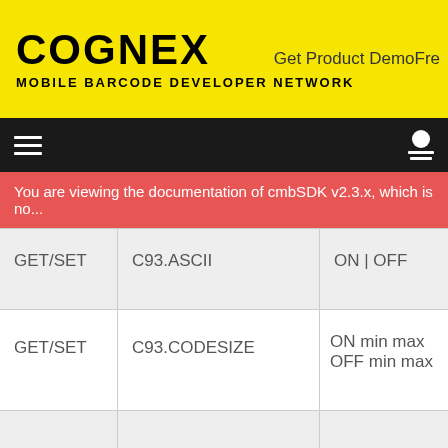COGNEX MOBILE BARCODE DEVELOPER NETWORK
Get Product DemoFre
You are viewing the documentation of cmbSDK v2.3.x, which is no...
|  |  |  |
| --- | --- | --- |
| GET/SET | C93.ASCII | ON | OFF |
| GET/SET | C93.CODESIZE | ON min max OFF min max |
|  | CONFIG.DEFAULT |  |